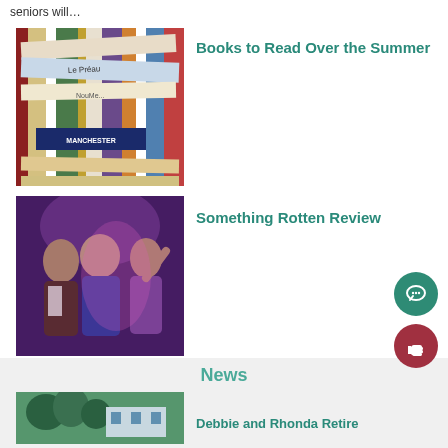seniors will…
[Figure (photo): Stack of books including 'Le Préau' visible on spines]
Books to Read Over the Summer
[Figure (photo): Theatre performers on stage in costumes]
Something Rotten Review
[Figure (photo): Scenic sunset over water with orange and purple sky]
Summer 2022 Things to Do
News
[Figure (photo): Outdoor building with trees]
Debbie and Rhonda Retire